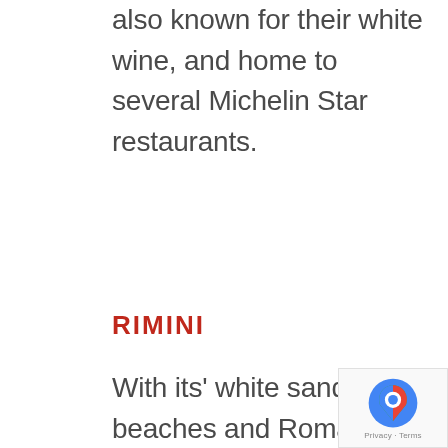also known for their white wine, and home to several Michelin Star restaurants.
RIMINI
With its' white sandy beaches and Roman ruins, Rimini is a beautiful town